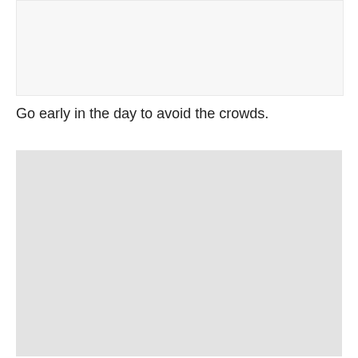[Figure (photo): Light gray/white rectangular image placeholder at top of page]
Go early in the day to avoid the crowds.
[Figure (photo): Large light gray rectangular image placeholder at bottom of page]